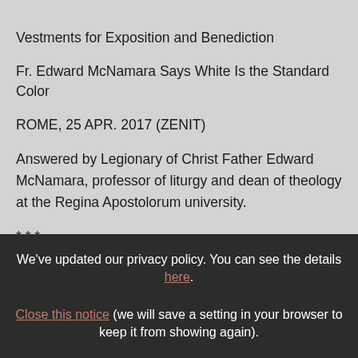Vestments for Exposition and Benediction
Fr. Edward McNamara Says White Is the Standard Color
ROME, 25 APR. 2017 (ZENIT)
Answered by Legionary of Christ Father Edward McNamara, professor of liturgy and dean of theology at the Regina Apostolorum university.
* * *
We've updated our privacy policy. You can see the details here. Close this notice (we will save a setting in your browser to keep it from showing again).